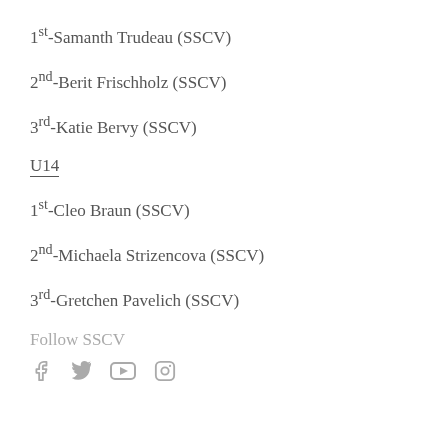1st-Samanth Trudeau (SSCV)
2nd-Berit Frischholz (SSCV)
3rd-Katie Bervy (SSCV)
U14
1st-Cleo Braun (SSCV)
2nd-Michaela Strizencova (SSCV)
3rd-Gretchen Pavelich (SSCV)
Follow SSCV
[Figure (infographic): Social media icons: Facebook, Twitter, YouTube, Instagram]